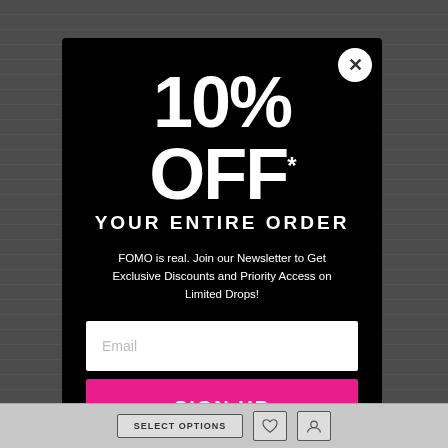[Figure (screenshot): Website background with horizontal rows/lines visible behind modal popup]
10% OFF YOUR ENTIRE ORDER
FOMO is real. Join our Newsletter to Get Exclusive Discounts and Priority Access on Limited Drops!
Email
SIGN UP
No, thanks
SELECT OPTIONS